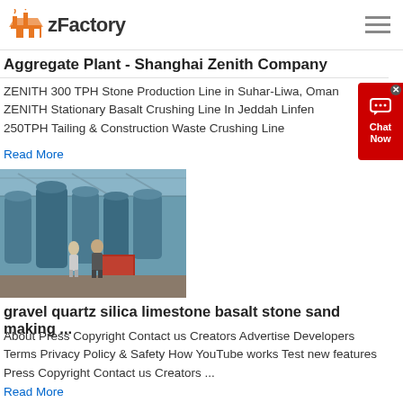zFactory
Aggregate Plant - Shanghai Zenith Company
ZENITH 300 TPH Stone Production Line in Suhar-Liwa, Oman ZENITH Stationary Basalt Crushing Line In Jeddah Linfen 250TPH Tailing & Construction Waste Crushing Line
Read More
[Figure (photo): Industrial factory floor showing large blue grinding/milling machines with two workers inspecting equipment inside a large warehouse with metal roof]
gravel quartz silica limestone basalt stone sand making ...
About Press Copyright Contact us Creators Advertise Developers Terms Privacy Policy & Safety How YouTube works Test new features Press Copyright Contact us Creators ...
Read More
[Figure (photo): Partial view of industrial machinery at bottom of page]